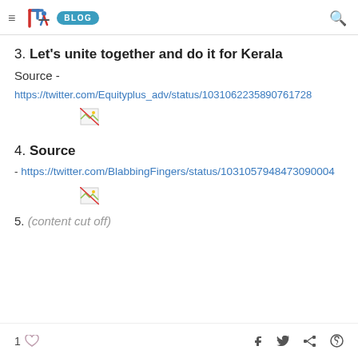≡ STI BLOG 🔍
3. Let's unite together and do it for Kerala
Source -
https://twitter.com/Equityplus_adv/status/1031062235890761728
[Figure (photo): Broken image placeholder]
4. Source
- https://twitter.com/BlabbingFingers/status/103105794847309000...
[Figure (photo): Broken image placeholder]
1 ♡  f  𝕏  in  ⊕